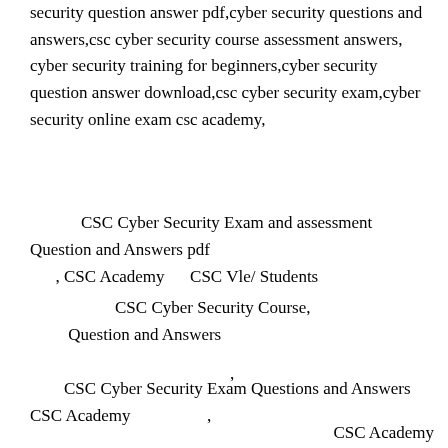security question answer pdf,cyber security questions and answers,csc cyber security course assessment answers, cyber security training for beginners,cyber security question answer download,csc cyber security exam,cyber security online exam csc academy,
CSC Cyber Security Exam and assessment Question and Answers pdf
, CSC Academy     CSC Vle/ Students
CSC Cyber Security Course, Question and Answers
CSC Cyber Security Exam Questions and Answers CSC Academy                    ,
CSC Academy